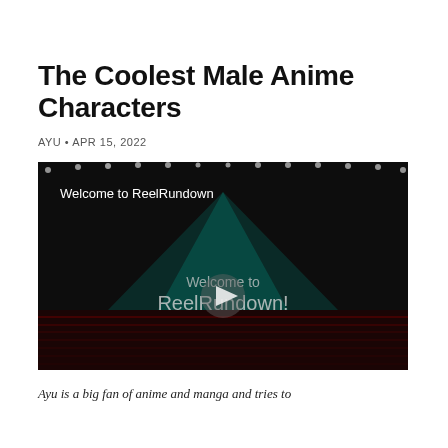The Coolest Male Anime Characters
AYU • APR 15, 2022
[Figure (screenshot): A dark video thumbnail with stage lighting and text 'Welcome to ReelRundown' at top and 'Welcome to ReelRundown!' in center, with a play button overlay.]
Ayu is a big fan of anime and manga and tries to